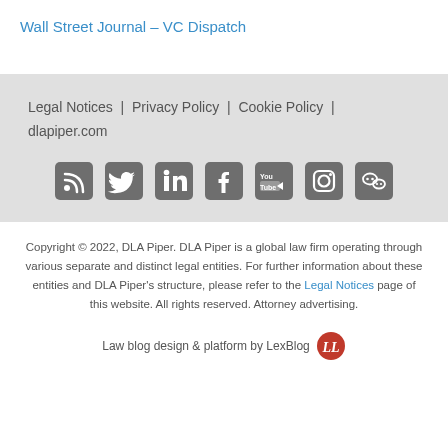Wall Street Journal – VC Dispatch
Legal Notices | Privacy Policy | Cookie Policy | dlapiper.com
[Figure (illustration): Social media icons: RSS, Twitter, LinkedIn, Facebook, YouTube, Instagram, WeChat]
Copyright © 2022, DLA Piper. DLA Piper is a global law firm operating through various separate and distinct legal entities. For further information about these entities and DLA Piper's structure, please refer to the Legal Notices page of this website. All rights reserved. Attorney advertising.
Law blog design & platform by LexBlog